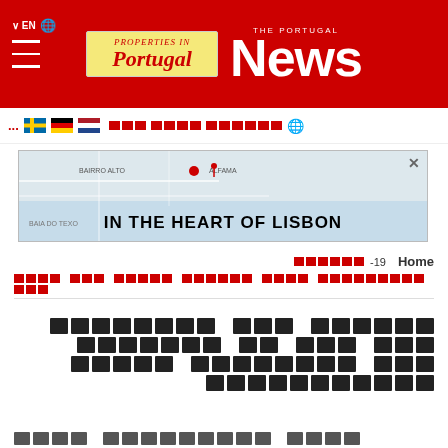The Portugal News — EN header with Properties in Portugal logo
[Figure (infographic): Navigation bar with language selector (EN + globe), hamburger menu lines, Properties in Portugal logo in yellow box, The Portugal News masthead in white on red background]
[Figure (infographic): Language selection bar with flag icons for Swedish, German, Dutch, and globe icon, with red square placeholder text for other language options]
[Figure (infographic): Advertisement banner showing a map of Lisbon with 'IN THE HEART OF LISBON' text]
[COVID-19 squares] Home / [breadcrumb squares]
[Placeholder squares representing non-Latin headline text about COVID-19 home]
[Partial sub-headline squares]